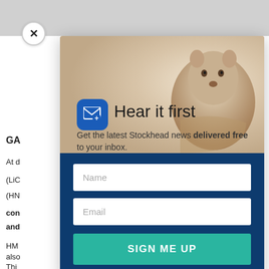[Figure (screenshot): Background web page partially visible behind modal, showing grey top bar and article text fragments including 'GA', 'At d', '(LiC', '(HN', 'con', 'and', 'HM', 'also', 'con', 'pro', 'Thi']
[Figure (screenshot): Modal popup with close X button, Stockhead email subscription form. Top section shows marmot/groundhog photo background, blue email icon, title 'Hear it first', subtitle 'Get the latest Stockhead news delivered free to your inbox.' Dark blue bottom section with Name input, Email input, and teal SIGN ME UP button.]
Hear it first
Get the latest Stockhead news delivered free to your inbox.
Name
Email
SIGN ME UP